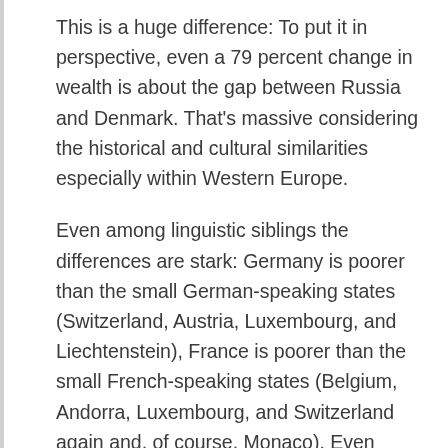This is a huge difference: To put it in perspective, even a 79 percent change in wealth is about the gap between Russia and Denmark. That's massive considering the historical and cultural similarities especially within Western Europe.
Even among linguistic siblings the differences are stark: Germany is poorer than the small German-speaking states (Switzerland, Austria, Luxembourg, and Liechtenstein), France is poorer than the small French-speaking states (Belgium, Andorra, Luxembourg, and Switzerland again and, of course, Monaco). Even Ireland,